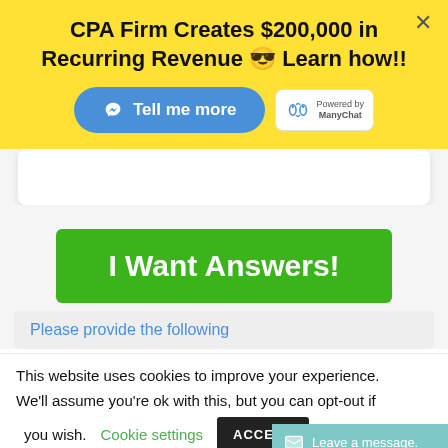CPA Firm Creates $200,000 in Recurring Revenue 😎 Learn how!!
[Figure (screenshot): Blue 'Tell me more' button with Messenger icon, and ManyChat powered-by badge]
[Figure (screenshot): Green 'I Want Answers!' call-to-action button]
Please provide the following
This website uses cookies to improve your experience. We'll assume you're ok with this, but you can opt-out if you wish. Cookie settings ACCEPT Leave a message.